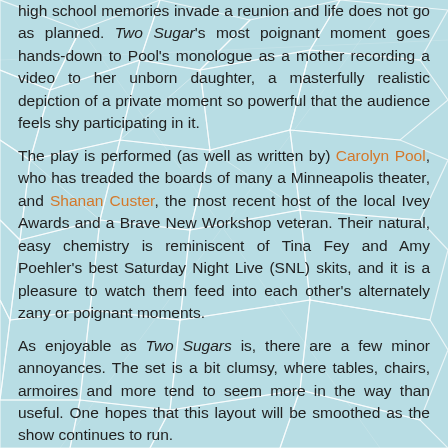high school memories invade a reunion and life does not go as planned. Two Sugar's most poignant moment goes hands-down to Pool's monologue as a mother recording a video to her unborn daughter, a masterfully realistic depiction of a private moment so powerful that the audience feels shy participating in it.
The play is performed (as well as written by) Carolyn Pool, who has treaded the boards of many a Minneapolis theater, and Shanan Custer, the most recent host of the local Ivey Awards and a Brave New Workshop veteran. Their natural, easy chemistry is reminiscent of Tina Fey and Amy Poehler's best Saturday Night Live (SNL) skits, and it is a pleasure to watch them feed into each other's alternately zany or poignant moments.
As enjoyable as Two Sugars is, there are a few minor annoyances. The set is a bit clumsy, where tables, chairs, armoires and more tend to seem more in the way than useful. One hopes that this layout will be smoothed as the show continues to run.
... their is also a bit off, like Will Eno's first few sentences coming...